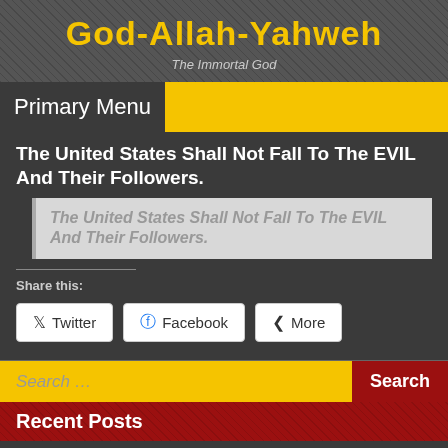God-Allah-Yahweh
The Immortal God
Primary Menu
The United States Shall Not Fall To The EVIL And Their Followers.
The United States Shall Not Fall To The EVIL And Their Followers.
Share this:
Twitter
Facebook
More
Search …
Recent Posts
Secret World Order Meetings